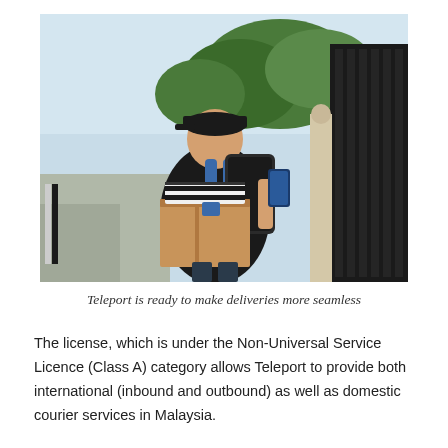[Figure (photo): A delivery person wearing a black cap and black t-shirt, carrying a cardboard box and a backpack, looking at a smartphone while standing near a dark wooden gate outdoors in Malaysia.]
Teleport is ready to make deliveries more seamless
The license, which is under the Non-Universal Service Licence (Class A) category allows Teleport to provide both international (inbound and outbound) as well as domestic courier services in Malaysia.